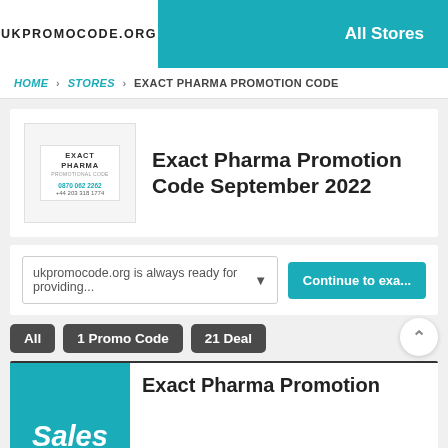UKPROMOCODE.ORG  All Stores
HOME > STORES > EXACT PHARMA PROMOTION CODE
Exact Pharma Promotion Code September 2022
ukpromocode.org is always ready for providing...  Continue to exa...
All
1 Promo Code
21 Deal
Exact Pharma Promotion Code